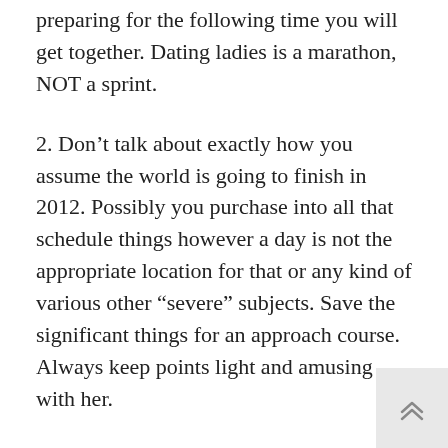preparing for the following time you will get together. Dating ladies is a marathon, NOT a sprint.
2. Don't talk about exactly how you assume the world is going to finish in 2012. Possibly you purchase into all that schedule things however a day is not the appropriate location for that or any kind of various other “severe” subjects. Save the significant things for an approach course. Always keep points light and amusing with her.
3. Getting is great when you get on a video game show trying to